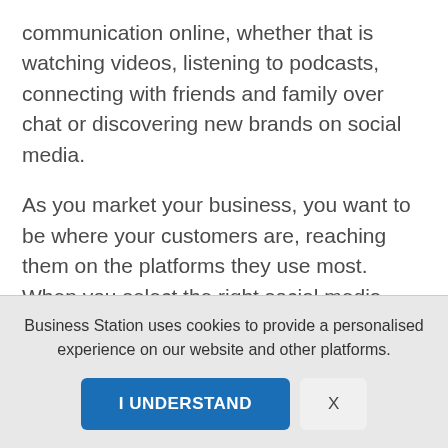communication online, whether that is watching videos, listening to podcasts, connecting with friends and family over chat or discovering new brands on social media.
As you market your business, you want to be where your customers are, reaching them on the platforms they use most. When you select the right social media channels, you can focus your attention and resources where they will
Business Station uses cookies to provide a personalised experience on our website and other platforms.